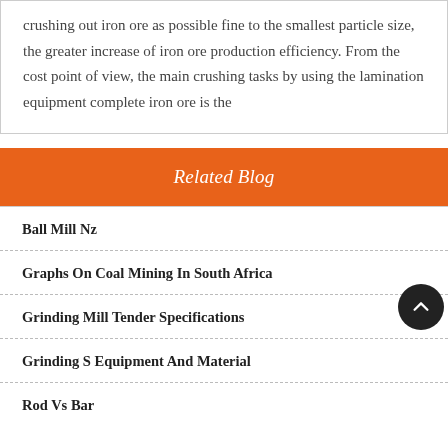crushing out iron ore as possible fine to the smallest particle size, the greater increase of iron ore production efficiency. From the cost point of view, the main crushing tasks by using the lamination equipment complete iron ore is the
Related Blog
Ball Mill Nz
Graphs On Coal Mining In South Africa
Grinding Mill Tender Specifications
Grinding S Equipment And Material
Rod Vs Bar